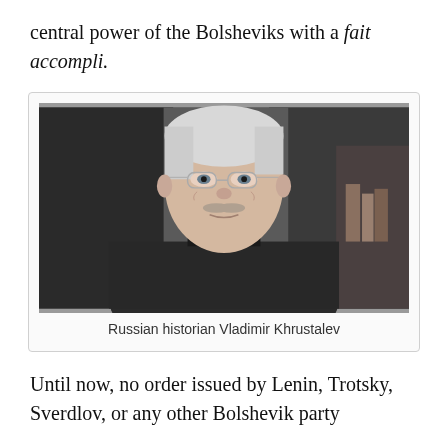central power of the Bolsheviks with a fait accompli.
[Figure (photo): Portrait photograph of Russian historian Vladimir Khrustalev, an elderly man with white hair, glasses, and a mustache, wearing a dark turtleneck and grey blazer.]
Russian historian Vladimir Khrustalev
Until now, no order issued by Lenin, Trotsky, Sverdlov, or any other Bolshevik party